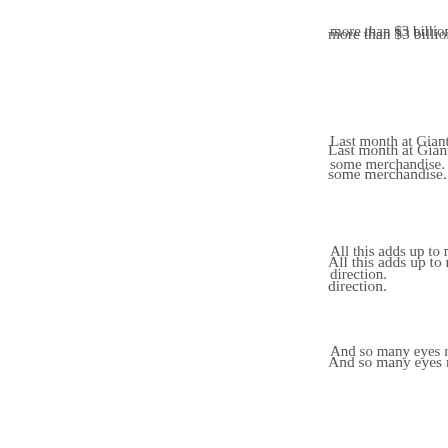more than $3 billion …
Last month at Giant … some merchandise. …
All this adds up to m… direction.
And so many eyes re…
5. Ted Leonsis
Majority owner, Wash…
Caps are losing (gam… season.
You never saw a har…